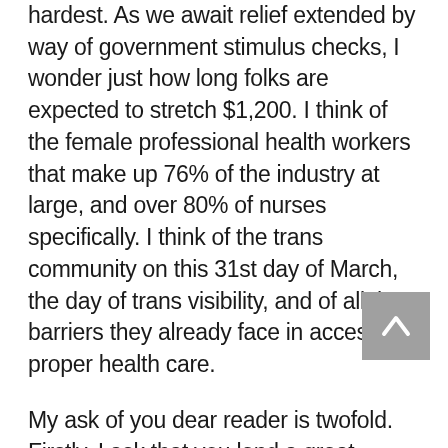hardest. As we await relief extended by way of government stimulus checks, I wonder just how long folks are expected to stretch $1,200. I think of the female professional health workers that make up 76% of the industry at large, and over 80% of nurses specifically. I think of the trans community on this 31st day of March, the day of trans visibility, and of all the barriers they already face in accessing proper health care.

My ask of you dear reader is twofold. Firstly, I ask that you lend a great amount of consideration in this moment to the women in your life. If you are woman identifying, then I ask that you bring the voices into the